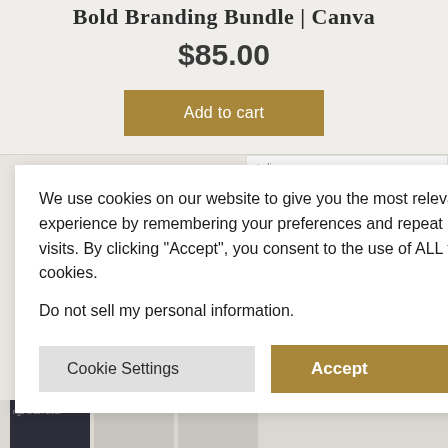Bold Branding Bundle | Canva
$85.00
Add to cart
We use cookies on our website to give you the most relevant experience by remembering your preferences and repeat visits. By clicking “Accept”, you consent to the use of ALL the cookies.
Do not sell my personal information.
Cookie Settings
Accept